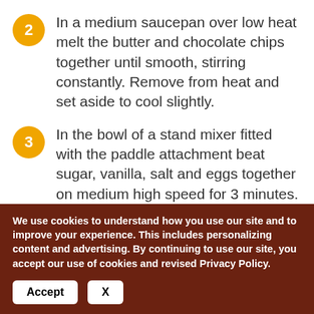2 In a medium saucepan over low heat melt the butter and chocolate chips together until smooth, stirring constantly. Remove from heat and set aside to cool slightly.
3 In the bowl of a stand mixer fitted with the paddle attachment beat sugar, vanilla, salt and eggs together on medium high speed for 3 minutes. Turn mixer to medium speed and slowly add melted chocolate to egg mixture until completely combined, scraping the sides
We use cookies to understand how you use our site and to improve your experience. This includes personalizing content and advertising. By continuing to use our site, you accept our use of cookies and revised Privacy Policy.